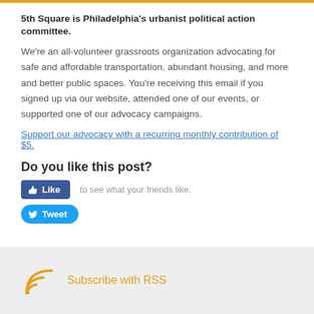5th Square is Philadelphia's urbanist political action committee.
We're an all-volunteer grassroots organization advocating for safe and affordable transportation, abundant housing, and more and better public spaces. You're receiving this email if you signed up via our website, attended one of our events, or supported one of our advocacy campaigns.
Support our advocacy with a recurring monthly contribution of $5.
Do you like this post?
[Figure (other): Facebook Like button and Tweet button with friend activity text]
Subscribe with RSS